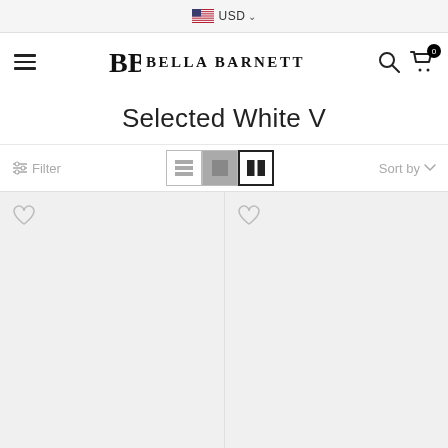USD
[Figure (logo): Bella Barnett logo with stylized BB monogram and text BELLA BARNETT]
Selected White V
Filter | view toggles | Sort by
[Figure (other): Two product placeholder cells with heart/wishlist icons in top-left corners]